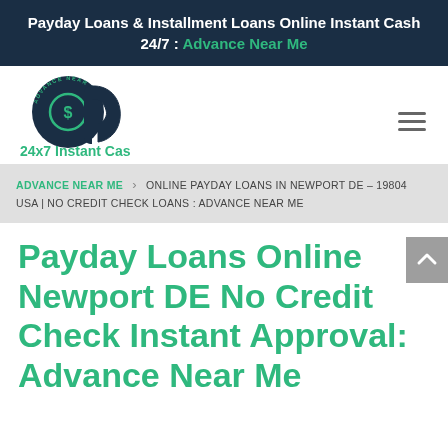Payday Loans & Installment Loans Online Instant Cash 24/7 : Advance Near Me
[Figure (logo): Advance Near Me logo — circular emblem with dollar sign and 'ADVANCE NEAR ME' text around it, next to a stylized 'd' shape, with '24x7 Instant Cash' text below in green]
ADVANCE NEAR ME > ONLINE PAYDAY LOANS IN NEWPORT DE – 19804 USA | NO CREDIT CHECK LOANS : ADVANCE NEAR ME
Payday Loans Online Newport DE No Credit Check Instant Approval: Advance Near Me